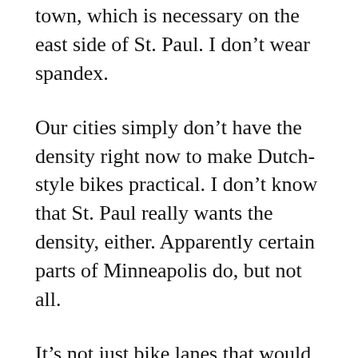town, which is necessary on the east side of St. Paul. I don't wear spandex.
Our cities simply don't have the density right now to make Dutch-style bikes practical. I don't know that St. Paul really wants the density, either. Apparently certain parts of Minneapolis do, but not all.
It's not just bike lanes that would have to change to make this vision practical – it would have to be everything. We would need smaller and more frequent stores of every type to allow local bicycle trips rather than longer-distance trips. Commuting to work would mean that everyone would need